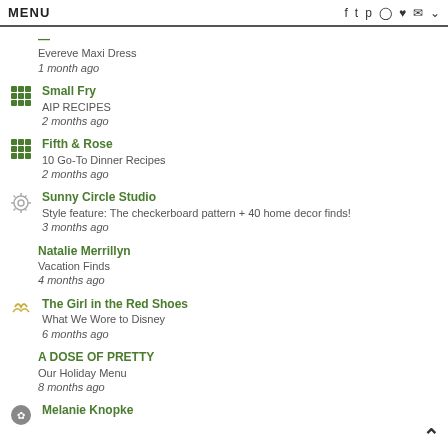MENU | f t p o ♥ ✉ ˅
Evereve Maxi Dress
1 month ago
Small Fry
AIP RECIPES
2 months ago
Fifth & Rose
10 Go-To Dinner Recipes
2 months ago
Sunny Circle Studio
Style feature: The checkerboard pattern + 40 home decor finds!
3 months ago
Natalie Merrillyn
Vacation Finds
4 months ago
The Girl in the Red Shoes
What We Wore to Disney
6 months ago
A DOSE OF PRETTY
Our Holiday Menu
8 months ago
Melanie Knopke